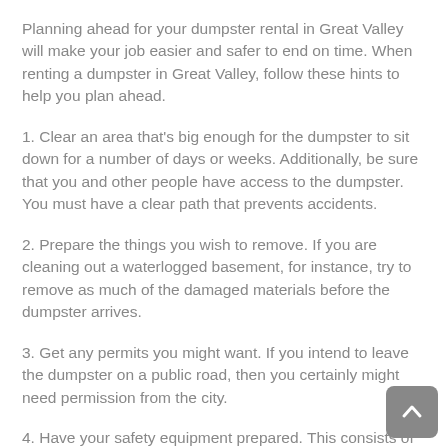Planning ahead for your dumpster rental in Great Valley will make your job easier and safer to end on time. When renting a dumpster in Great Valley, follow these hints to help you plan ahead.
1. Clear an area that’s big enough for the dumpster to sit down for a number of days or weeks. Additionally, be sure that you and other people have access to the dumpster. You must have a clear path that prevents accidents.
2. Prepare the things you wish to remove. If you are cleaning out a waterlogged basement, for instance, try to remove as much of the damaged materials before the dumpster arrives.
3. Get any permits you might want. If you intend to leave the dumpster on a public road, then you certainly might need permission from the city.
4. Have your safety equipment prepared. This consists of gloves, rear supports, and other items which you’ll need to dispose of...